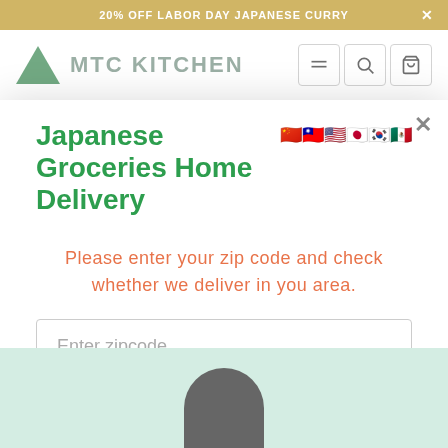20% OFF LABOR DAY JAPANESE CURRY
[Figure (screenshot): MTC Kitchen website header with logo (green triangle) and navigation icons for menu, search, and cart]
Japanese Groceries Home Delivery
Please enter your zip code and check whether we deliver in you area.
Enter zipcode
Check